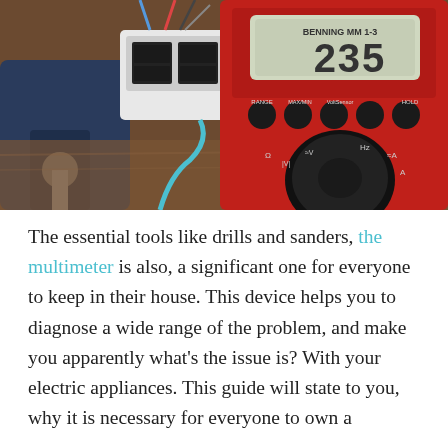[Figure (photo): A red BENNING MM 1-3 multimeter displaying 235 on its digital screen, with a white electronic component/module and a power drill visible on a workbench in the background.]
The essential tools like drills and sanders, the multimeter is also, a significant one for everyone to keep in their house. This device helps you to diagnose a wide range of the problem, and make you apparently what's the issue is? With your electric appliances. This guide will state to you, why it is necessary for everyone to own a